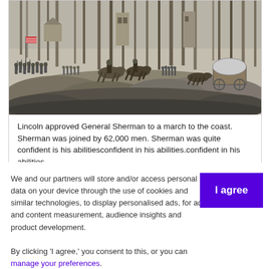[Figure (illustration): Black and white historical engraving/illustration showing Civil War soldiers marching through a forested area with horses, wagons, buildings, and an American flag visible.]
Lincoln approved General Sherman to a march to the coast. Sherman was joined by 62,000 men. Sherman was quite confident in his abilities.
We and our partners will store and/or access personal data on your device through the use of cookies and similar technologies, to display personalised ads, for ad and content measurement, audience insights and product development.

By clicking 'I agree,' you consent to this, or you can manage your preferences.